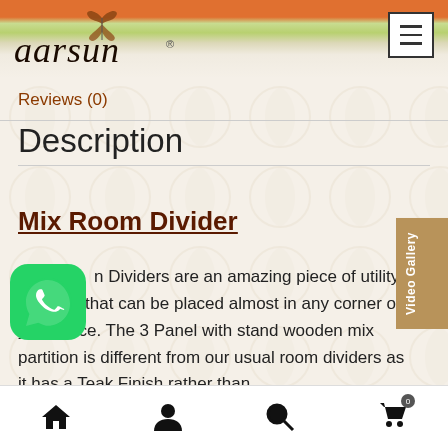[Figure (logo): Aarsun furniture brand logo with butterfly icon and italic text]
Reviews (0)
Description
Mix Room Divider
[Figure (logo): WhatsApp green chat icon]
n Dividers are an amazing piece of utility furniture that can be placed almost in any corner of your place. The 3 Panel with stand wooden mix partition is different from our usual room dividers as it has a Teak Finish rather than
[Figure (other): Video Gallery vertical sidebar tab in tan/brown color]
Home | Account | Search | Cart (0)